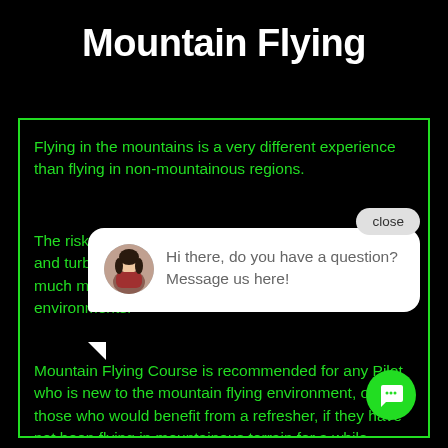Mountain Flying
Flying in the mountains is a very different experience than flying in non-mountainous regions.
The risks, hazards, weather phenomena, terrain winds and turbulence are unique to mountain flying and often much more intense and unpredictable than in other environments.
Mountain Flying Course is recommended for any Pilot who is new to the mountain flying environment, or for those who would benefit from a refresher, if they have not been flying in mountainous terrain for a while.
[Figure (screenshot): Chat popup overlay with avatar photo of a woman, message 'Hi there, do you have a question? Message us here!', a close button, and a green chat icon button.]